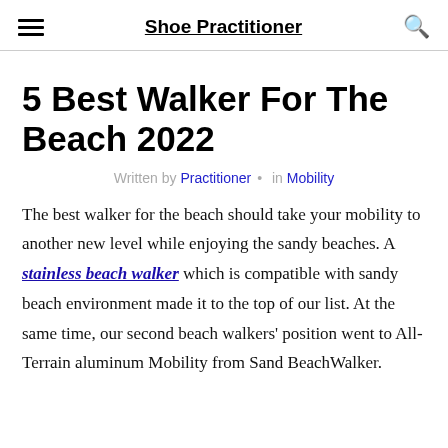Shoe Practitioner
5 Best Walker For The Beach 2022
Written by Practitioner • in Mobility
The best walker for the beach should take your mobility to another new level while enjoying the sandy beaches. A stainless beach walker which is compatible with sandy beach environment made it to the top of our list. At the same time, our second beach walkers' position went to All-Terrain aluminum Mobility from Sand BeachWalker.